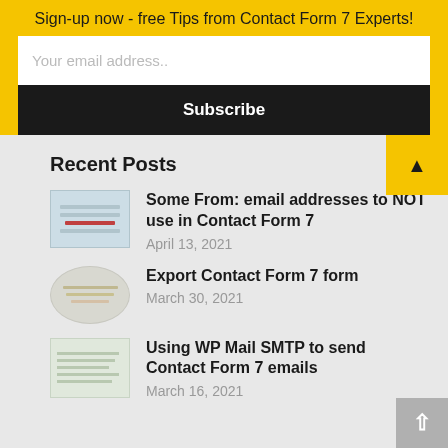Sign-up now - free Tips from Contact Form 7 Experts!
Your email address..
Subscribe
Recent Posts
Some From: email addresses to NOT use in Contact Form 7
April 13, 2021
Export Contact Form 7 form
March 30, 2021
Using WP Mail SMTP to send Contact Form 7 emails
March 16, 2021